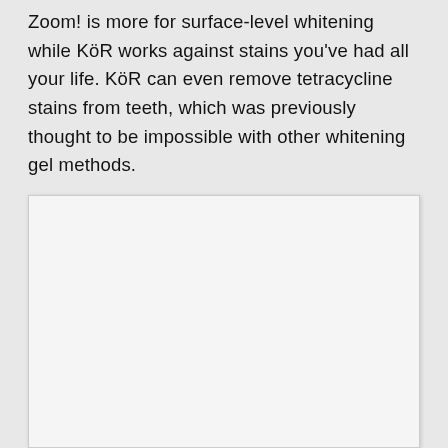Zoom! is more for surface-level whitening while KöR works against stains you've had all your life. KöR can even remove tetracycline stains from teeth, which was previously thought to be impossible with other whitening gel methods.
[Figure (photo): A white/blank rectangular image placeholder box with light gray background and border.]